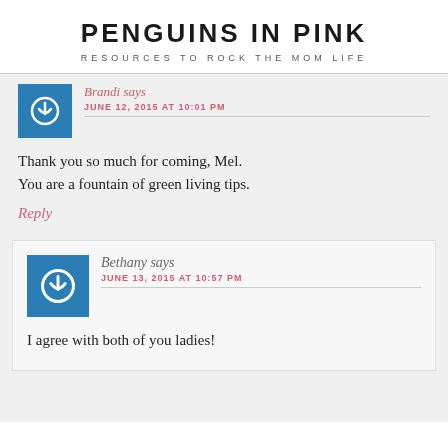PENGUINS IN PINK
RESOURCES TO ROCK THE MOM LIFE
Brandi says
JUNE 12, 2015 AT 10:01 PM
Thank you so much for coming, Mel. You are a fountain of green living tips.
Reply
Bethany says
JUNE 13, 2015 AT 10:57 PM
I agree with both of you ladies!